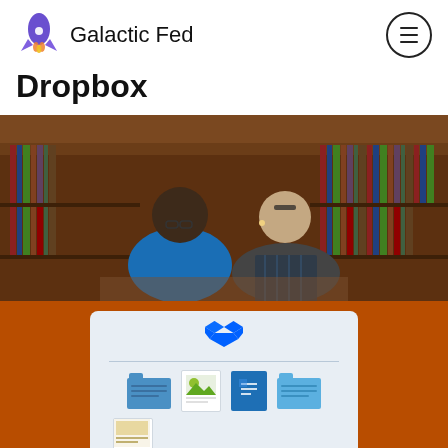Galactic Fed
Dropbox
[Figure (photo): Two people (a man in blue shirt and a woman in plaid shirt) looking at something together in a library with wooden bookshelves in the background]
[Figure (screenshot): Dropbox interface screenshot showing the Dropbox logo and file icons including folders and documents, displayed on an orange background]